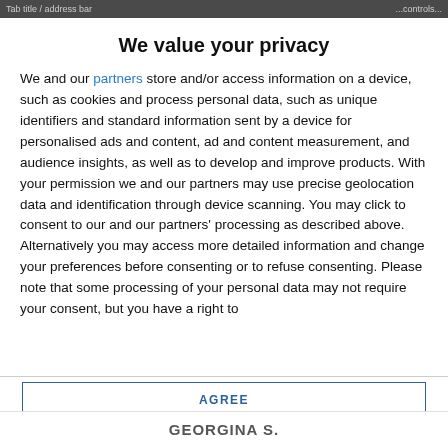Tab title (truncated)   ...title area...
We value your privacy
We and our partners store and/or access information on a device, such as cookies and process personal data, such as unique identifiers and standard information sent by a device for personalised ads and content, ad and content measurement, and audience insights, as well as to develop and improve products. With your permission we and our partners may use precise geolocation data and identification through device scanning. You may click to consent to our and our partners' processing as described above. Alternatively you may access more detailed information and change your preferences before consenting or to refuse consenting. Please note that some processing of your personal data may not require your consent, but you have a right to
AGREE
MORE OPTIONS
GEORGINA S.